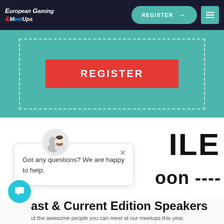European Gaming & MeetUps — navigation bar with REGISTER button and menu
[Figure (screenshot): Teal hero section with dashed border box containing a large red REGISTER button]
Got any questions? We are happy to help.
Past & Current Edition Speakers
ut the awesome people you can meet at our meetups this year.